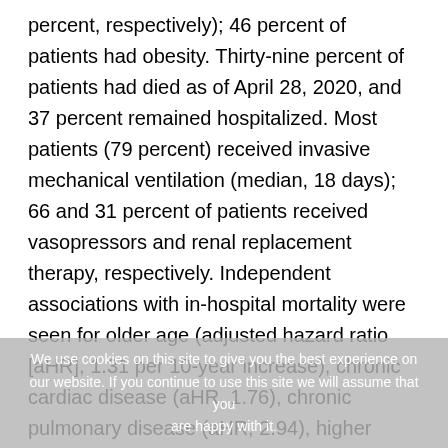percent, respectively); 46 percent of patients had obesity. Thirty-nine percent of patients had died as of April 28, 2020, and 37 percent remained hospitalized. Most patients (79 percent) received invasive mechanical ventilation (median, 18 days); 66 and 31 percent of patients received vasopressors and renal replacement therapy, respectively. Independent associations with in-hospital mortality were seen for older age (adjusted hazard ratio [aHR], 1.31 per 10-year increase), chronic cardiac disease (aHR, 1.76), chronic pulmonary disease (aHR, 2.94), higher concentrations of interleukin-6 (aHR, 1.11 per-decile increase), and higher concentrations of D-dimer (aHR, 1.10 per-decile increase).
“While waiting for the availability of a COVID-19 vaccine, further studies are required to improve and